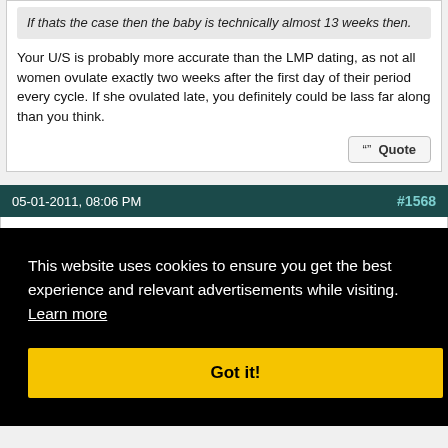If thats the case then the baby is technically almost 13 weeks then.
Your U/S is probably more accurate than the LMP dating, as not all women ovulate exactly two weeks after the first day of their period every cycle. If she ovulated late, you definitely could be lass far along than you think.
05-01-2011, 08:06 PM   #1568
[Figure (screenshot): Cookie consent overlay on black background with text: 'This website uses cookies to ensure you get the best experience and relevant advertisements while visiting. Learn more' and a yellow 'Got it!' button.]